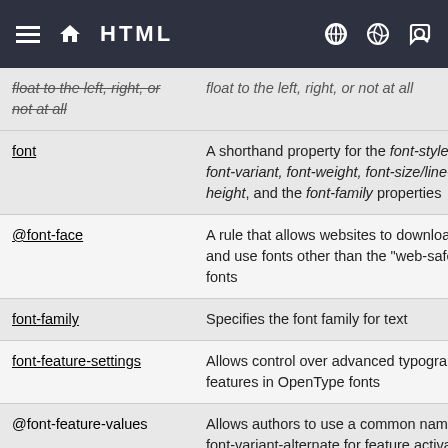HTML
| Property | Description |
| --- | --- |
| float (partial) | float to the left, right, or not at all |
| font | A shorthand property for the font-style, font-variant, font-weight, font-size/line-height, and the font-family properties |
| @font-face | A rule that allows websites to download and use fonts other than the "web-safe" fonts |
| font-family | Specifies the font family for text |
| font-feature-settings | Allows control over advanced typographic features in OpenType fonts |
| @font-feature-values | Allows authors to use a common name in font-variant-alternate for feature activated differently in OpenType |
| font-kerning | Controls the usage of the kerning |